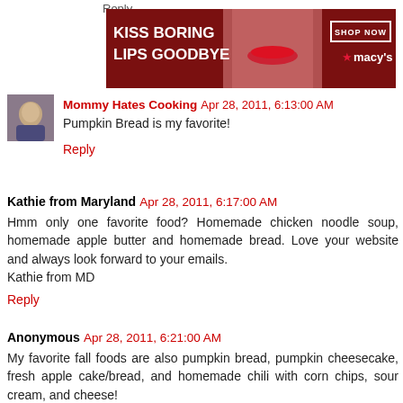[Figure (photo): Macy's advertisement banner: dark red background with woman's face showing red lips, text 'KISS BORING LIPS GOODBYE', 'SHOP NOW' button, and Macy's star logo]
Reply
Mommy Hates Cooking  Apr 28, 2011, 6:13:00 AM
Pumpkin Bread is my favorite!
Reply
Kathie from Maryland  Apr 28, 2011, 6:17:00 AM
Hmm only one favorite food? Homemade chicken noodle soup, homemade apple butter and homemade bread. Love your website and always look forward to your emails.
Kathie from MD
Reply
Anonymous  Apr 28, 2011, 6:21:00 AM
My favorite fall foods are also pumpkin bread, pumpkin cheesecake, fresh apple cake/bread, and homemade chili with corn chips, sour cream, and cheese!